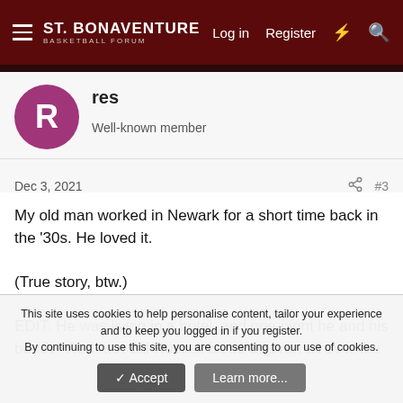St. Bonaventure Basketball Forum — Log in  Register
[Figure (screenshot): User avatar: pink/magenta circle with white letter R]
res
Well-known member
Dec 3, 2021  #3
My old man worked in Newark for a short time back in the '30s. He loved it.

(True story, btw.)

EDIT: He was living in a hotel, and one night he and his buddy "Red" got Bill Russell blotto and ran all over the hotel changing the room numbers on the doors. He didn't speak often of it, but I think he considered it one of the highlights of his life.
This site uses cookies to help personalise content, tailor your experience and to keep you logged in if you register.
By continuing to use this site, you are consenting to our use of cookies.